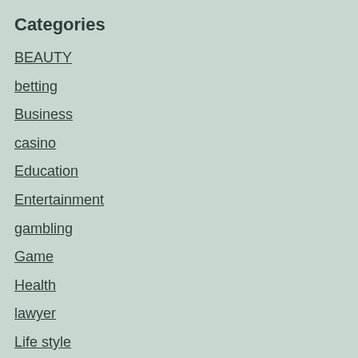Categories
BEAUTY
betting
Business
casino
Education
Entertainment
gambling
Game
Health
lawyer
Life style
Lifestyle